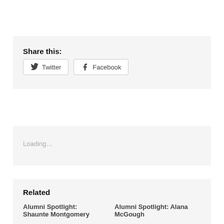Share this:
Twitter  Facebook
Loading…
Related
Alumni Spotlight: Shaunte Montgomery
Alumni Spotlight: Alana McGough